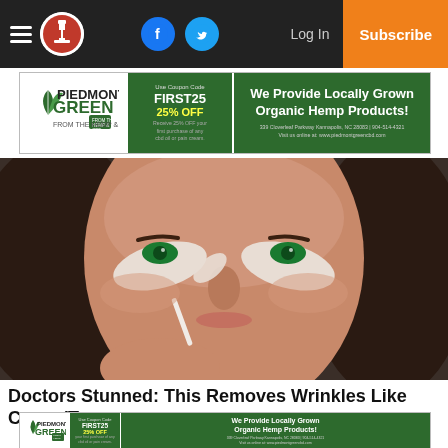Navigation bar with hamburger menu, logo, Facebook icon, Twitter icon, Log In, Subscribe
[Figure (photo): Advertisement banner for Piedmont Green CBD: 'We Provide Locally Grown Organic Hemp Products! Use Coupon Code FIRST25 Receive 25% OFF your first purchase of any cbd oil or pain cream. 339 Cloverleaf Parkway Kannapolis, NC 28083 | 904-514-4321 Visit us online at: www.piedmontgreencbd.com']
[Figure (photo): Close-up photo of a woman with green eyes applying white cream or anti-wrinkle treatment to her face using a small spatula/stick, with cream patches under her eyes]
Doctors Stunned: This Removes Wrinkles Like Crazy (Try
[Figure (photo): Advertisement banner for Piedmont Green CBD: 'We Provide Locally Grown Organic Hemp Products! Use Coupon Code FIRST25 Receive 25% OFF your first purchase of any cbd oil or pain cream. 339 Cloverleaf Parkway Kannapolis, NC 28083 | 904-514-4321 Visit us online at: www.piedmontgreencbd.com']